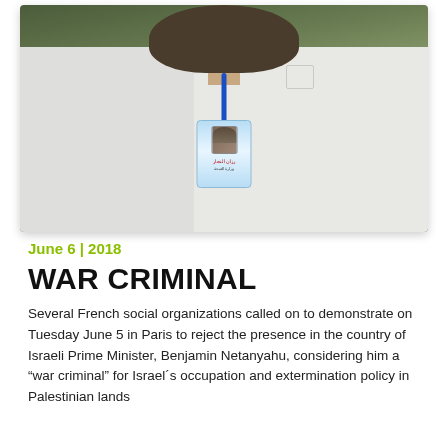[Figure (photo): Photo of a person wearing a white coat/lab coat with a blue lanyard and an ID badge with Arabic text. The person's head is covered with a dark brown hijab/scarf. Background is blurred green/brown tones outdoors.]
June 6 | 2018
WAR CRIMINAL
Several French social organizations called on to demonstrate on Tuesday June 5 in Paris to reject the presence in the country of Israeli Prime Minister, Benjamin Netanyahu, considering him a "war criminal" for Israel´s occupation and extermination policy in Palestinian lands